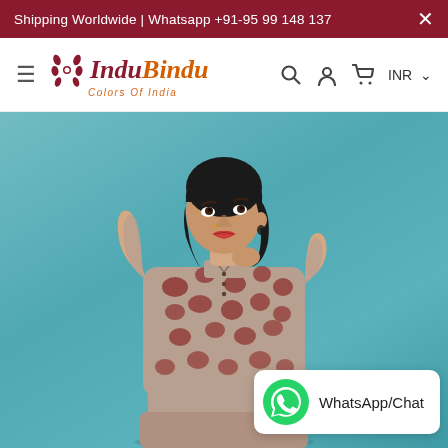Shipping Worldwide | Whatsapp +91-95 99 148 137
[Figure (logo): InduBindu Colors Of India logo with decorative floral icon, hamburger menu, search, user, cart, and INR currency selector in navigation bar]
[Figure (photo): Woman wearing a beige/taupe block-printed kurti with red floral paisley pattern on a teal background, holding her hair, looking upward. WhatsApp/Chat button overlay in bottom right corner.]